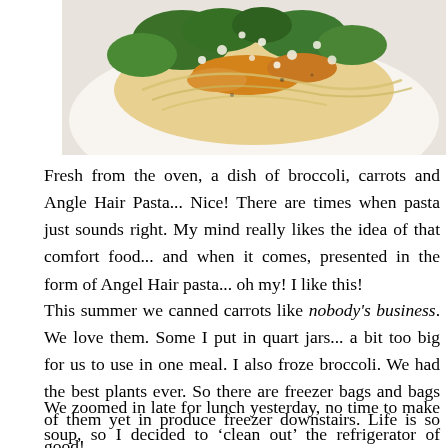[Figure (photo): A white plate with a dish of broccoli, carrots, and Angel Hair Pasta, topped with crumbled cheese, photographed from above.]
Fresh from the oven, a dish of broccoli, carrots and Angle Hair Pasta... Nice! There are times when pasta just sounds right. My mind really likes the idea of that comfort food... and when it comes, presented in the form of Angel Hair pasta... oh my! I like this!
This summer we canned carrots like nobody's business. We love them. Some I put in quart jars... a bit too big for us to use in one meal. I also froze broccoli. We had the best plants ever. So there are freezer bags and bags of them yet in produce freezer downstairs. Life is so good!
We zoomed in late for lunch yesterday, no time to make soup, so I decided to ‘clean out’ the refrigerator of Saturday night dinner. The meal was wonderful and I knew I had to share! It is also so simple, no addition of herbs,